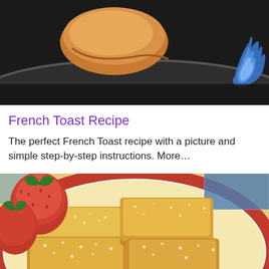[Figure (photo): Photo of bread/pastry being cooked on a dark metal pan or griddle with a flame visible at the edge, dark background]
French Toast Recipe
The perfect French Toast recipe with a picture and simple step-by-step instructions. More…
[Figure (photo): Photo of golden French Toast sticks dusted with powdered sugar on a decorative plate with red strawberries, colorful plate border visible]